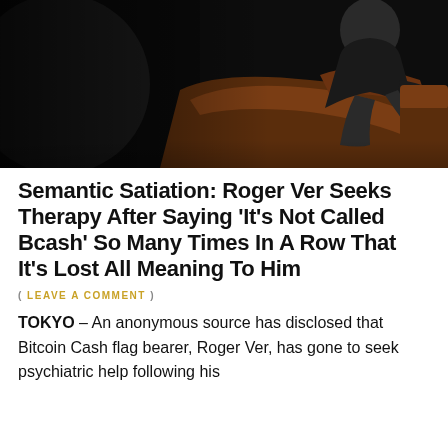[Figure (photo): A person sitting in a dark brown leather armchair in a dimly lit room, wearing dark clothing, photographed from the side/back angle.]
Semantic Satiation: Roger Ver Seeks Therapy After Saying ‘It’s Not Called Bcash’ So Many Times In A Row That It’s Lost All Meaning To Him
( LEAVE A COMMENT )
TOKYO – An anonymous source has disclosed that Bitcoin Cash flag bearer, Roger Ver, has gone to seek psychiatric help following his